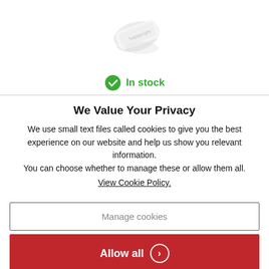[Figure (photo): Product image of what appears to be white bandage or medical strip packaging, shown at an angle on white background]
In stock
We Value Your Privacy
We use small text files called cookies to give you the best experience on our website and help us show you relevant information.
You can choose whether to manage these or allow them all.
View Cookie Policy.
Manage cookies
Allow all